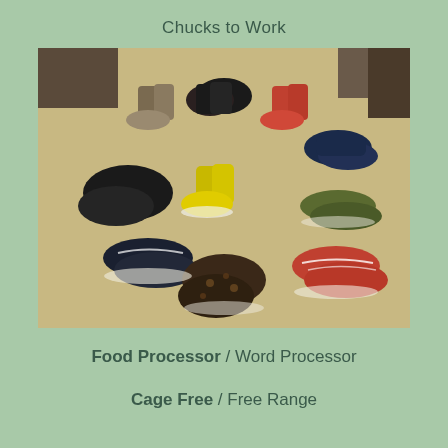Chucks to Work
[Figure (photo): Multiple pairs of Converse Chuck Taylor sneakers arranged in a circle on a beige floor. The shoes include various colors: black, navy, olive/khaki, red/orange, yellow, leopard print, and dark patterns. Both high-top and low-top styles are visible.]
Food Processor / Word Processor
Cage Free / Free Range